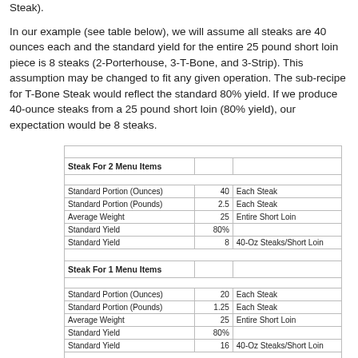Steak).
In our example (see table below), we will assume all steaks are 40 ounces each and the standard yield for the entire 25 pound short loin piece is 8 steaks (2-Porterhouse, 3-T-Bone, and 3-Strip). This assumption may be changed to fit any given operation. The sub-recipe for T-Bone Steak would reflect the standard 80% yield. If we produce 40-ounce steaks from a 25 pound short loin (80% yield), our expectation would be 8 steaks.
|  |  |  |
| --- | --- | --- |
| Steak For 2 Menu Items |  |  |
| Standard Portion (Ounces) | 40 | Each Steak |
| Standard Portion (Pounds) | 2.5 | Each Steak |
| Average Weight | 25 | Entire Short Loin |
| Standard Yield | 80% |  |
| Standard Yield | 8 | 40-Oz Steaks/Short Loin |
| Steak For 1 Menu Items |  |  |
| Standard Portion (Ounces) | 20 | Each Steak |
| Standard Portion (Pounds) | 1.25 | Each Steak |
| Average Weight | 25 | Entire Short Loin |
| Standard Yield | 80% |  |
| Standard Yield | 16 | 40-Oz Steaks/Short Loin |